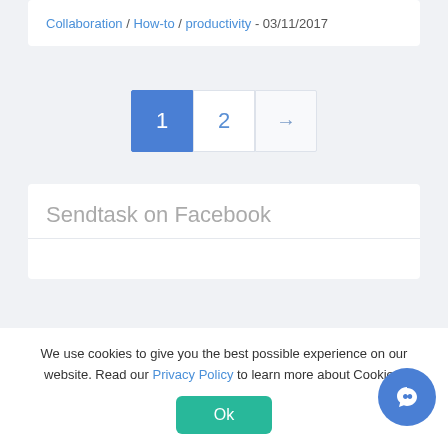Collaboration / How-to / productivity - 03/11/2017
[Figure (other): Pagination controls: page 1 (active, blue), page 2, and next arrow button]
Sendtask on Facebook
We use cookies to give you the best possible experience on our website. Read our Privacy Policy to learn more about Cookies.
Ok